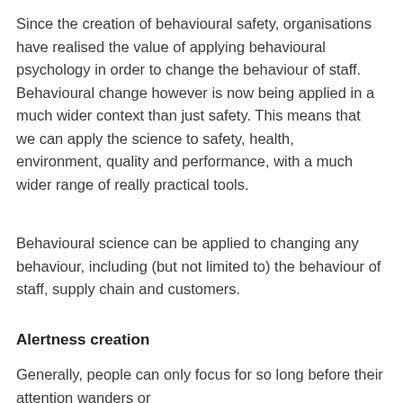Since the creation of behavioural safety, organisations have realised the value of applying behavioural psychology in order to change the behaviour of staff. Behavioural change however is now being applied in a much wider context than just safety. This means that we can apply the science to safety, health, environment, quality and performance, with a much wider range of really practical tools.
Behavioural science can be applied to changing any behaviour, including (but not limited to) the behaviour of staff, supply chain and customers.
Alertness creation
Generally, people can only focus for so long before their attention wanders or